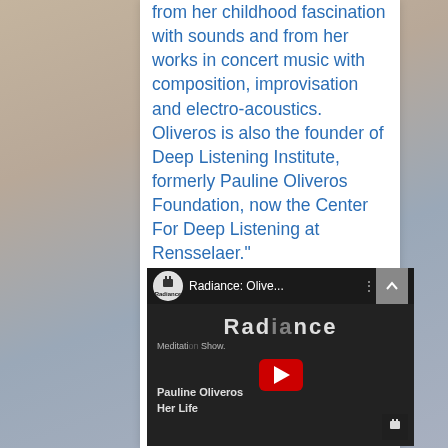from her childhood fascination with sounds and from her works in concert music with composition, improvisation and electro-acoustics. Oliveros is also the founder of Deep Listening Institute, formerly Pauline Oliveros Foundation, now the Center For Deep Listening at Rensselaer." paulineoliveros.us
[Figure (screenshot): YouTube video embed showing 'Radiance: Olive...' by Radiance channel, with a dark thumbnail showing 'Radiance' text overlay, a meditation show title with 'Pauline Oliveros Her Life', and a red play button in the center.]